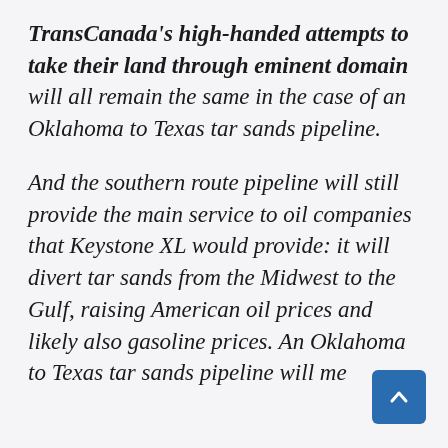TransCanada's high-handed attempts to take their land through eminent domain will all remain the same in the case of an Oklahoma to Texas tar sands pipeline.
And the southern route pipeline will still provide the main service to oil companies that Keystone XL would provide: it will divert tar sands from the Midwest to the Gulf, raising American oil prices and likely also gasoline prices. An Oklahoma to Texas tar sands pipeline will mean…